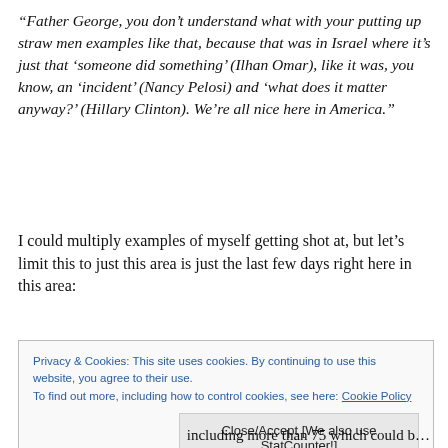“Father George, you don’t understand what with your putting up straw men examples like that, because that was in Israel where it’s just that ‘someone did something’ (Ilhan Omar), like it was, you know, an ‘incident’ (Nancy Pelosi) and ‘what does it matter anyway?’ (Hillary Clinton). We’re all nice here in America.”
I could multiply examples of myself getting shot at, but let’s limit this to just this area is just the last few days right here in this area:
Privacy & Cookies: This site uses cookies. By continuing to use this website, you agree to their use.
To find out more, including how to control cookies, see here: Cookie Policy
Close/Accept [We also use StatCounter!]
...including more than 75 which could be in the...